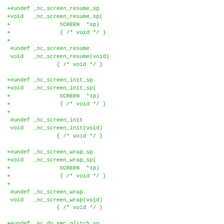[Figure (other): Code diff snippet in monospace green text showing C function stubs for _nc_screen_resume_sp, _nc_screen_resume, _nc_screen_init_sp, _nc_screen_init, _nc_screen_wrap_sp, _nc_screen_wrap, _nc_do_xmc_glitch_sp with + prefix lines indicating additions]